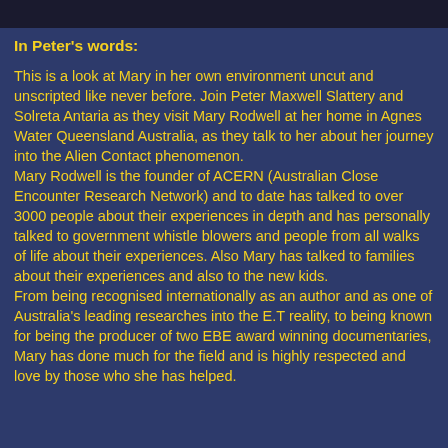In Peter's words:
This is a look at Mary in her own environment uncut and unscripted like never before. Join Peter Maxwell Slattery and Solreta Antaria as they visit Mary Rodwell at her home in Agnes Water Queensland Australia, as they talk to her about her journey into the Alien Contact phenomenon.
Mary Rodwell is the founder of ACERN (Australian Close Encounter Research Network) and to date has talked to over 3000 people about their experiences in depth and has personally talked to government whistle blowers and people from all walks of life about their experiences. Also Mary has talked to families about their experiences and also to the new kids.
From being recognised internationally as an author and as one of Australia's leading researches into the E.T reality, to being known for being the producer of two EBE award winning documentaries, Mary has done much for the field and is highly respected and love by those who she has helped.